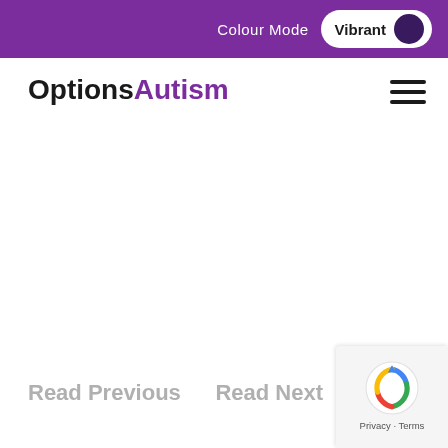Colour Mode  Vibrant
[Figure (logo): OptionsAutism logo with 'Options' in black bold and 'Autism' in purple bold]
[Figure (other): Hamburger menu icon with three horizontal lines]
Read Previous
Read Next
[Figure (other): reCAPTCHA badge with Privacy and Terms links]